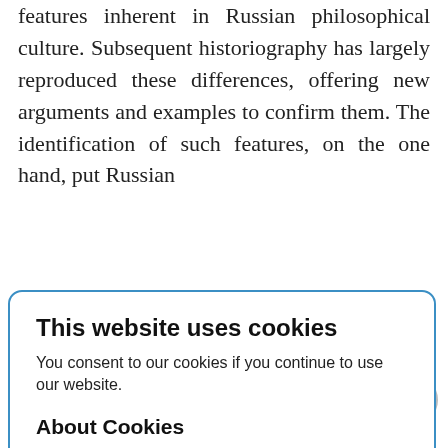features inherent in Russian philosophical culture. Subsequent historiography has largely reproduced these differences, offering new arguments and examples to confirm them. The identification of such features, on the one hand, put Russian philosophy on a par with well-known national philosophical schools, and, on the other hand, served as justification for the history of Russian philosophy itself, which, however, did not definitively eliminate the skeptical view of both its independence and fruitfulness. Beginning with B.V. Yakovenko, V.V. Zenkovsky, and N.O. Lossky, historians of Russian philosophy have noted the predominant interest of Russian thinkers in problems of ethics, religion, history, and the philosophical doctrine of man and have also pointed to literary centrism, publicism,
This website uses cookies
You consent to our cookies if you continue to use our website.
About Cookies
OK